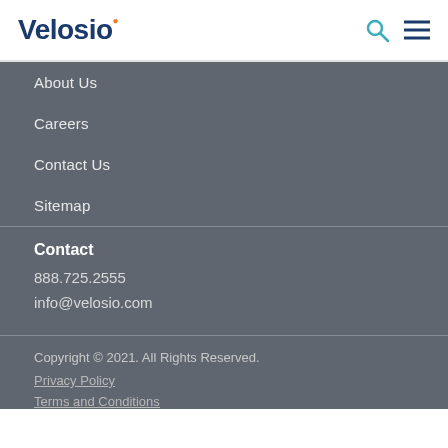Velosio
About Us
Careers
Contact Us
Sitemap
Contact
888.725.2555
info@velosio.com
Copyright © 2021. All Rights Reserved.
Privacy Policy
Terms and Conditions